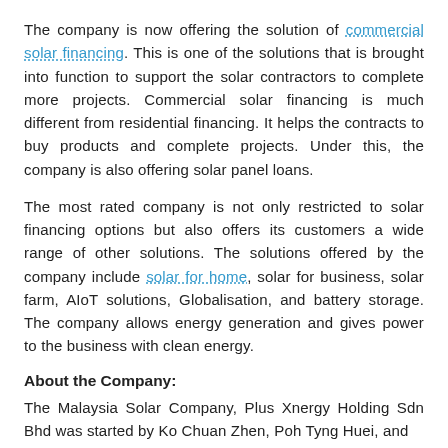The company is now offering the solution of commercial solar financing. This is one of the solutions that is brought into function to support the solar contractors to complete more projects. Commercial solar financing is much different from residential financing. It helps the contracts to buy products and complete projects. Under this, the company is also offering solar panel loans.
The most rated company is not only restricted to solar financing options but also offers its customers a wide range of other solutions. The solutions offered by the company include solar for home, solar for business, solar farm, AIoT solutions, Globalisation, and battery storage. The company allows energy generation and gives power to the business with clean energy.
About the Company:
The Malaysia Solar Company, Plus Xnergy Holding Sdn Bhd was started by Ko Chuan Zhen, Poh Tyng Huei, and